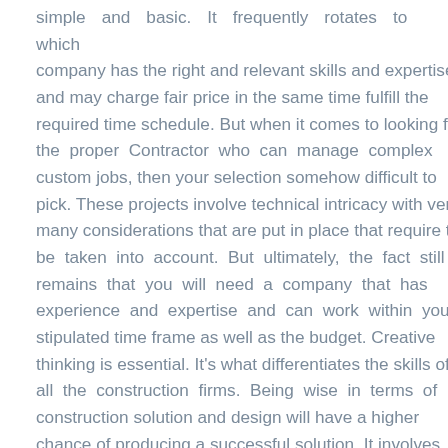simple and basic. It frequently rotates to which company has the right and relevant skills and expertise and may charge fair price in the same time fulfill the required time schedule. But when it comes to looking for the proper Contractor who can manage complex custom jobs, then your selection somehow difficult to pick. These projects involve technical intricacy with very many considerations that are put in place that require to be taken into account. But ultimately, the fact still remains that you will need a company that has experience and expertise and can work within your stipulated time frame as well as the budget. Creative thinking is essential. It's what differentiates the skills of all the construction firms. Being wise in terms of construction solution and design will have a higher chance of producing a successful solution. It involves more about the technicality and skills of presenting a project rather than just its presentation without